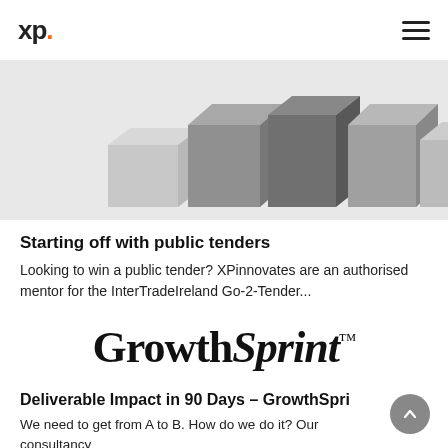xp. [logo] [hamburger menu]
[Figure (photo): Photograph of grey/silver 3D boxes or cubes arranged in a row on a light grey background, varying in height and shade.]
Starting off with public tenders
Looking to win a public tender? XPinnovates are an authorised mentor for the InterTradeIreland Go-2-Tender...
[Figure (logo): GrowthSprint™ — large bold serif/italic logotype text]
Deliverable Impact in 90 Days – GrowthSpri
We need to get from A to B.  How do we do it?  Our consultancy